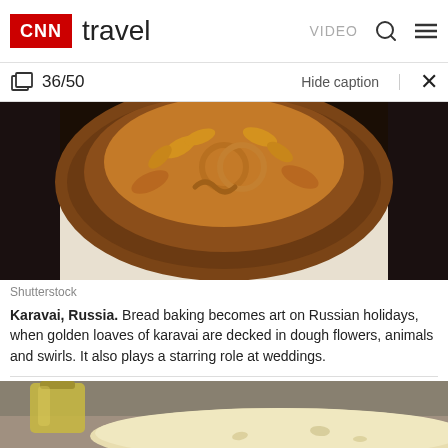CNN travel | VIDEO
36/50 | Hide caption | ×
[Figure (photo): Close-up overhead photo of a decorated Russian karavai bread with ornate dough flowers, wheat stalks, and swirl patterns on a white plate with dark background]
Shutterstock
Karavai, Russia. Bread baking becomes art on Russian holidays, when golden loaves of karavai are decked in dough flowers, animals and swirls. It also plays a starring role at weddings.
[Figure (photo): Partially visible photo of flatbread with a bottle of olive oil on a stone surface]